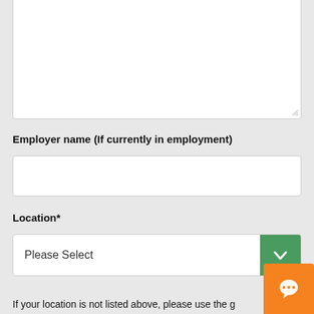[textarea input field]
Employer name (If currently in employment)
[text input field]
Location*
Please Select
If your location is not listed above, please use the general